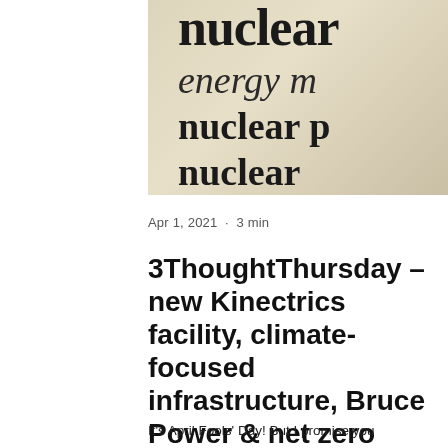[Figure (photo): Close-up photo of dictionary or book text showing the words 'nuclear', 'energy m', 'nuclear p' in bold serif font on a beige/cream paper background]
Apr 1, 2021  •  3 min
3ThoughtThursday – new Kinectrics facility, climate-focused infrastructure, Bruce Power & net zero
It's April Fools' Day! But I promise you